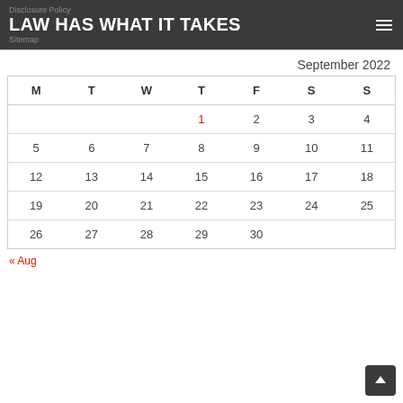Disclosure Policy
LAW HAS WHAT IT TAKES
Sitemap
September 2022
| M | T | W | T | F | S | S |
| --- | --- | --- | --- | --- | --- | --- |
|  |  |  | 1 | 2 | 3 | 4 |
| 5 | 6 | 7 | 8 | 9 | 10 | 11 |
| 12 | 13 | 14 | 15 | 16 | 17 | 18 |
| 19 | 20 | 21 | 22 | 23 | 24 | 25 |
| 26 | 27 | 28 | 29 | 30 |  |  |
« Aug